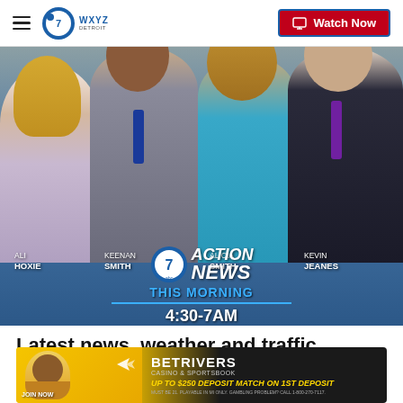WXYZ Detroit - Watch Now
[Figure (photo): WXYZ Detroit Action News This Morning anchor team photo featuring Ali Hoxie, Keenan Smith, Alicia Smith, and Kevin Jeanes with Action News logo and 4:30-7AM time slot]
Latest news, weather and traffic to...
[Figure (photo): BetRivers Casino & Sportsbook advertisement: JOIN NOW - UP TO $250 DEPOSIT MATCH ON 1ST DEPOSIT]